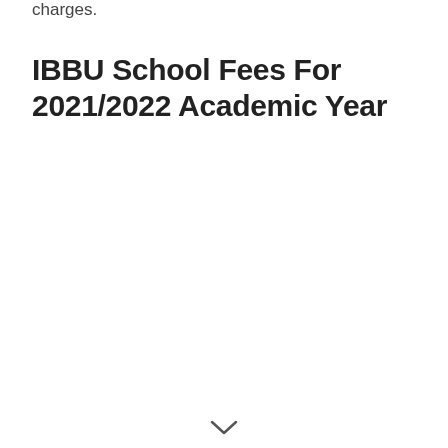charges.
IBBU School Fees For 2021/2022 Academic Year